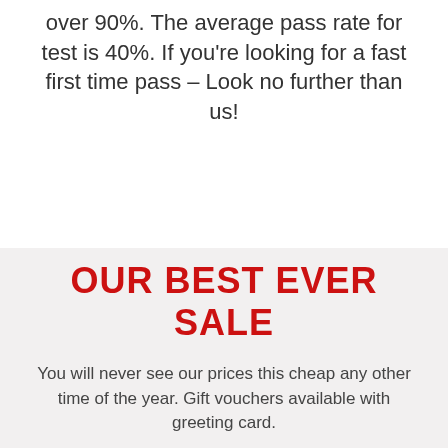over 90%. The average pass rate for test is 40%. If you're looking for a fast first time pass – Look no further than us!
OUR BEST EVER SALE
You will never see our prices this cheap any other time of the year. Gift vouchers available with greeting card.